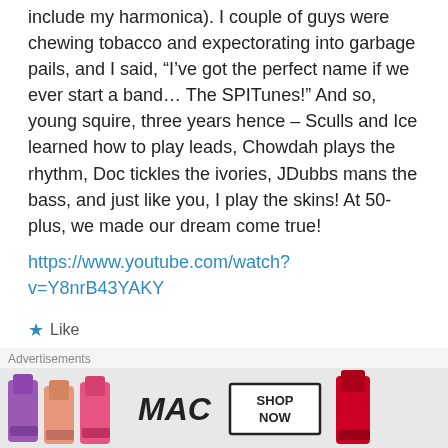include my harmonica). I couple of guys were chewing tobacco and expectorating into garbage pails, and I said, “I’ve got the perfect name if we ever start a band… The SPITunes!” And so, young squire, three years hence – Sculls and Ice learned how to play leads, Chowdah plays the rhythm, Doc tickles the ivories, JDubbs mans the bass, and just like you, I play the skins! At 50-plus, we made our dream come true!
https://www.youtube.com/watch?v=Y8nrB43YAKY
★ Like
↩ Reply
[Figure (other): MAC cosmetics advertisement banner showing lipsticks in purple, peach, and pink colors, MAC logo, and a SHOP NOW button, with a red lipstick on the right]